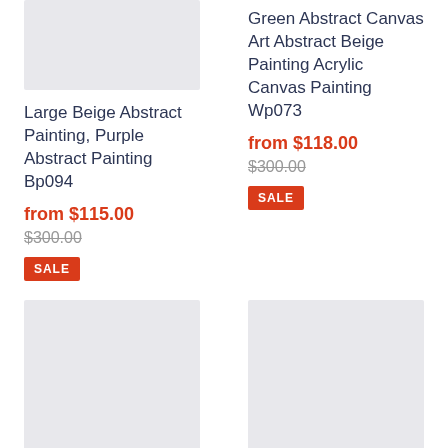[Figure (photo): Product image placeholder for Large Beige Abstract Painting, light grey rectangle]
Large Beige Abstract Painting, Purple Abstract Painting Bp094
from $115.00
$300.00
SALE
[Figure (photo): Product image placeholder for Green Abstract Canvas Art, light grey rectangle]
Green Abstract Canvas Art Abstract Beige Painting Acrylic Canvas Painting Wp073
from $118.00
$300.00
SALE
[Figure (photo): Product image placeholder bottom left, large light grey rectangle]
[Figure (photo): Product image placeholder bottom right, large light grey rectangle]